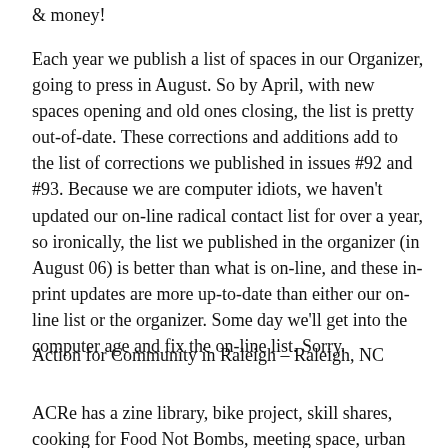& money!
Each year we publish a list of spaces in our Organizer, going to press in August. So by April, with new spaces opening and old ones closing, the list is pretty out-of-date. These corrections and additions add to the list of corrections we published in issues #92 and #93. Because we are computer idiots, we haven't updated our on-line radical contact list for over a year, so ironically, the list we published in the organizer (in August 06) is better than what is on-line, and these in-print updates are more up-to-date than either our on-line list or the organizer. Some day we'll get into the computer age and fix the on-line list. Sorry.
Action for Community in Raleigh – Raleigh, NC
ACRe has a zine library, bike project, skill shares, cooking for Food Not Bombs, meeting space, urban gardening